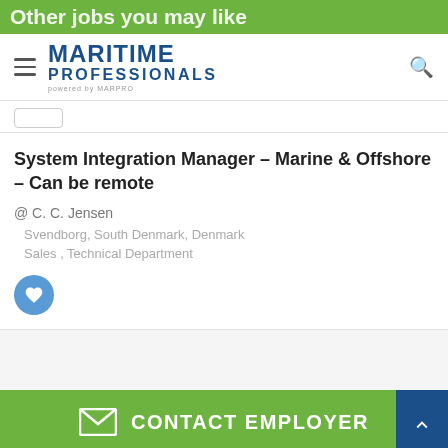Other jobs you may like
[Figure (screenshot): Maritime Professionals logo with hamburger menu and search icon navigation bar]
@ C. C. Jensen
System Integration Manager – Marine & Offshore – Can be remote
Svendborg, South Denmark, Denmark
Sales , Technical Department
CONTACT EMPLOYER
[Figure (map): Bottom map strip showing 16HOVENI, KLEIWEGKWARTIER labels and road map]